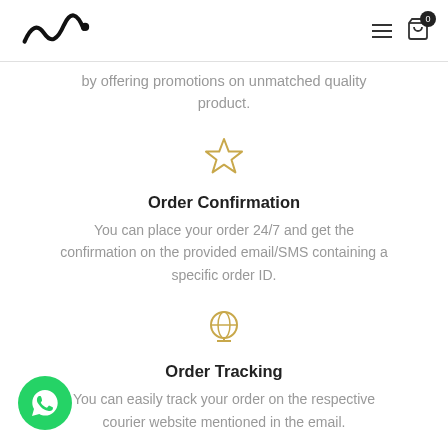Logo and navigation icons
by offering promotions on unmatched quality product.
[Figure (illustration): Gold/yellow star outline icon]
Order Confirmation
You can place your order 24/7 and get the confirmation on the provided email/SMS containing a specific order ID.
[Figure (illustration): Gold/yellow globe/world icon]
Order Tracking
You can easily track your order on the respective courier website mentioned in the email.
[Figure (illustration): WhatsApp chat button (green circle with chat icon)]